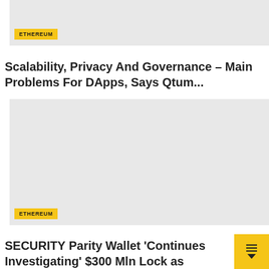[Figure (photo): Partially visible image placeholder with light gray background at the top of the page, with an ETHEREUM category tag label at bottom-left]
Scalability, Privacy And Governance – Main Problems For DApps, Says Qtum...
[Figure (photo): Large light gray image placeholder with an ETHEREUM category tag label at bottom-left]
SECURITY Parity Wallet 'Continues Investigating' $300 Mln Lock as Ambisafe Reports No...